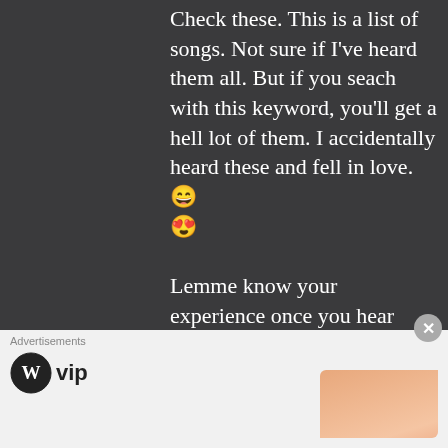Check these. This is a list of songs. Not sure if I've heard them all. But if you seach with this keyword, you'll get a hell lot of them. I accidentally heard these and fell in love.😁😍
Lemme know your experience once you hear these.
★ Liked by 1 person
Advertisements
[Figure (logo): WordPress VIP logo with circle W mark and 'vip' text]
[Figure (illustration): Ad banner with gradient peach/orange background and Learn more button]